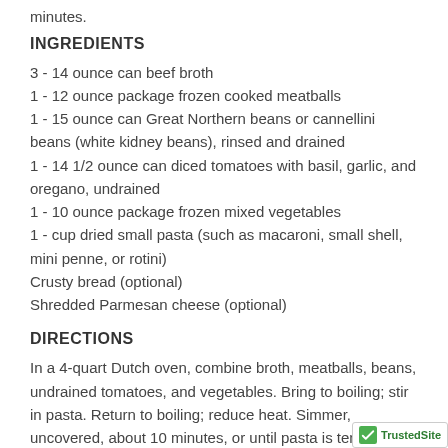minutes.
INGREDIENTS
3 - 14 ounce can beef broth
1 - 12 ounce package frozen cooked meatballs
1 - 15 ounce can Great Northern beans or cannellini beans (white kidney beans), rinsed and drained
1 - 14 1/2 ounce can diced tomatoes with basil, garlic, and oregano, undrained
1 - 10 ounce package frozen mixed vegetables
1 - cup dried small pasta (such as macaroni, small shell, mini penne, or rotini)
Crusty bread (optional)
Shredded Parmesan cheese (optional)
DIRECTIONS
In a 4-quart Dutch oven, combine broth, meatballs, beans, undrained tomatoes, and vegetables. Bring to boiling; stir in pasta. Return to boiling; reduce heat. Simmer, uncovered, about 10 minutes, or until pasta is tender. To serve. ladle soup into bowls. If desired, serve with bread and